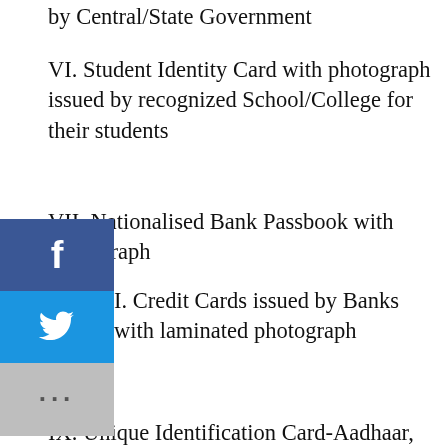by Central/State Government
VI. Student Identity Card with photograph issued by recognized School/College for their students
VII. Nationalised Bank Passbook with photograph
VIII. Credit Cards issued by Banks with laminated photograph
IX. Unique Identification Card-Aadhaar, m-Aadhaar & e-Aadhaar
X. Photo Identity cards having serial number issued by Public Sector Undertakings of State/Central Government, District